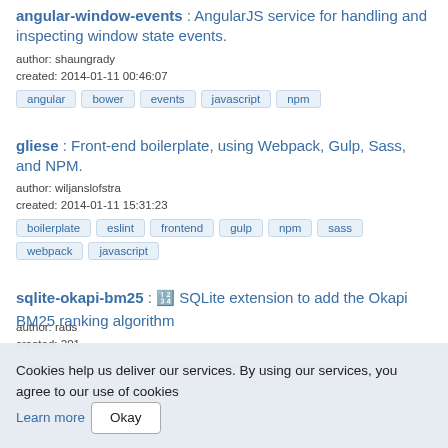angular-window-events : AngularJS service for handling and inspecting window state events.
author: shaungrady
created: 2014-01-11 00:46:07
angular
bower
events
javascript
npm
gliese : Front-end boilerplate, using Webpack, Gulp, Sass, and NPM.
author: wiljanslofstra
created: 2014-01-11 15:31:23
boilerplate
eslint
frontend
gulp
npm
sass
webpack
javascript
sqlite-okapi-bm25 : 🔢 SQLite extension to add the Okapi BM25 ranking algorithm
author: rads
created: 201...
algorithms
c
mit-license
npm
npm-module
Cookies help us deliver our services. By using our services, you agree to our use of cookies Learn more Okay